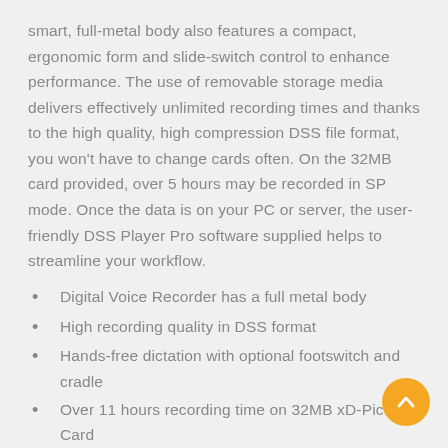smart, full-metal body also features a compact, ergonomic form and slide-switch control to enhance performance. The use of removable storage media delivers effectively unlimited recording times and thanks to the high quality, high compression DSS file format, you won't have to change cards often. On the 32MB card provided, over 5 hours may be recorded in SP mode. Once the data is on your PC or server, the user-friendly DSS Player Pro software supplied helps to streamline your workflow.
Digital Voice Recorder has a full metal body
High recording quality in DSS format
Hands-free dictation with optional footswitch and cradle
Over 11 hours recording time on 32MB xD-Picture Card
Up to 7 folders for voice file management (199